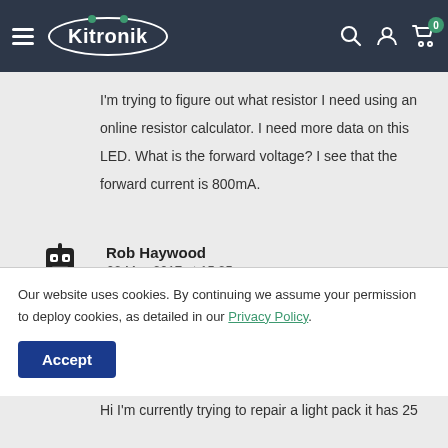Kitronik — navigation bar with hamburger menu, logo, search, account, and cart icons
I'm trying to figure out what resistor I need using an online resistor calculator. I need more data on this LED. What is the forward voltage? I see that the forward current is 800mA.
Rob Haywood
02 May 2017 at 15:25pm
Hi John, That's far beyond the capacity of anything we sell. Good luck in your search! Rob
Our website uses cookies. By continuing we assume your permission to deploy cookies, as detailed in our Privacy Policy.
Hi I'm currently trying to repair a light pack it has 25